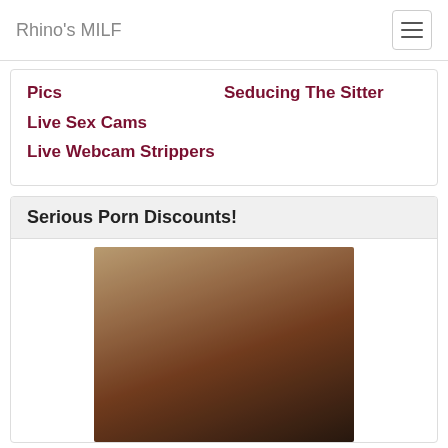Rhino's MILF
Pics
Live Sex Cams
Live Webcam Strippers
Seducing The Sitter
Serious Porn Discounts!
[Figure (photo): Close-up photo of a woman]